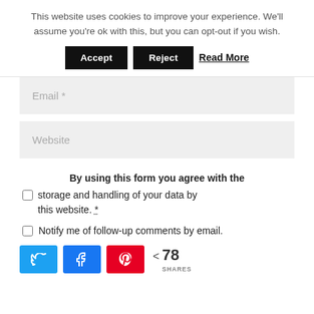This website uses cookies to improve your experience. We'll assume you're ok with this, but you can opt-out if you wish.
Accept | Reject | Read More
Email *
Website
By using this form you agree with the storage and handling of your data by this website. *.
Notify me of follow-up comments by email.
< 78 SHARES